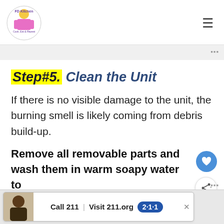FD Kitchen - Cook Eat & Repeat
Step#5. Clean the Unit
If there is no visible damage to the unit, the burning smell is likely coming from debris build-up.
Remove all removable parts and wash them in warm soapy water to
[Figure (screenshot): Call 211 | Visit 211.org advertisement banner at bottom of page]